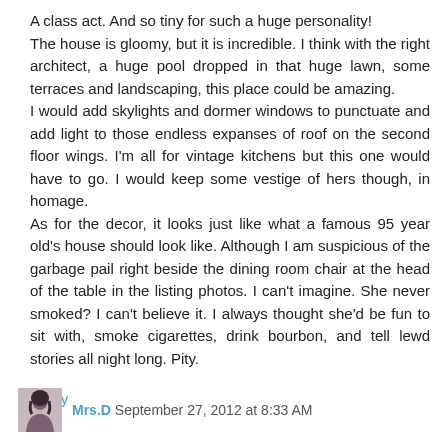A class act. And so tiny for such a huge personality!
The house is gloomy, but it is incredible. I think with the right architect, a huge pool dropped in that huge lawn, some terraces and landscaping, this place could be amazing.
I would add skylights and dormer windows to punctuate and add light to those endless expanses of roof on the second floor wings. I'm all for vintage kitchens but this one would have to go. I would keep some vestige of hers though, in homage.
As for the decor, it looks just like what a famous 95 year old's house should look like. Although I am suspicious of the garbage pail right beside the dining room chair at the head of the table in the listing photos. I can't imagine. She never smoked? I can't believe it. I always thought she'd be fun to sit with, smoke cigarettes, drink bourbon, and tell lewd stories all night long. Pity.
Reply
Mrs.D  September 27, 2012 at 8:33 AM